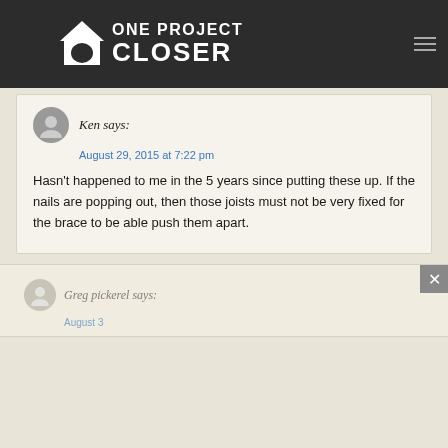ONE PROJECT CLOSER
Ken says:
August 29, 2015 at 7:22 pm
Hasn’t happened to me in the 5 years since putting these up. If the nails are popping out, then those joists must not be very fixed for the brace to be able push them apart.
Greg pickerel says: